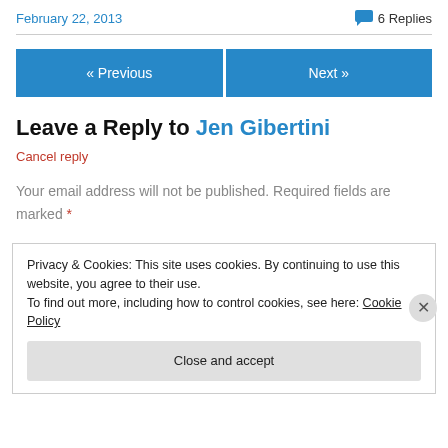February 22, 2013   💬 6 Replies
« Previous   Next »
Leave a Reply to Jen Gibertini
Cancel reply
Your email address will not be published. Required fields are marked *
Privacy & Cookies: This site uses cookies. By continuing to use this website, you agree to their use.
To find out more, including how to control cookies, see here: Cookie Policy
Close and accept